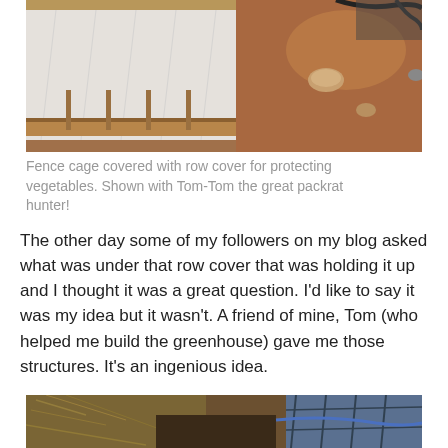[Figure (photo): A raised garden bed covered with white row cover fabric held up by a fence cage structure. The bed has wooden frame sides and is surrounded by dry reddish-brown soil. A black irrigation hose is visible in the upper right. A cat (Tom-Tom) is partially visible at the right edge.]
Fence cage covered with row cover for protecting vegetables. Shown with Tom-Tom the great packrat hunter!
The other day some of my followers on my blog asked what was under that row cover that was holding it up and I thought it was a great question. I’d like to say it was my idea but it wasn’t. A friend of mine, Tom (who helped me build the greenhouse) gave me those structures. It’s an ingenious idea.
[Figure (photo): A partially visible outdoor garden area with dry grass/straw, dark soil, and what appears to be irrigation or wire structures partially visible. The image is cropped at the bottom of the page.]